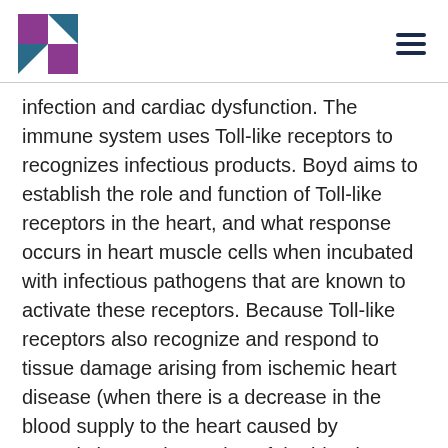[Logo and navigation menu]
infection and cardiac dysfunction. The immune system uses Toll-like receptors to recognizes infectious products. Boyd aims to establish the role and function of Toll-like receptors in the heart, and what response occurs in heart muscle cells when incubated with infectious pathogens that are known to activate these receptors. Because Toll-like receptors also recognize and respond to tissue damage arising from ischemic heart disease (when there is a decrease in the blood supply to the heart caused by constriction or obstruction of the blood vessels) and heart transplant rejection, the research could have relevance beyond cardiac response to acute infection. Ultimately, Boyd aims to provide novel insights into the